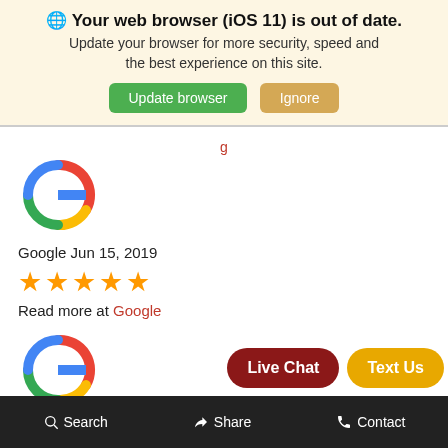🌐 Your web browser (iOS 11) is out of date. Update your browser for more security, speed and the best experience on this site.
[Figure (screenshot): Update browser and Ignore buttons]
[Figure (logo): Google G logo for first review]
Google Jun 15, 2019
[Figure (other): 5 orange stars rating]
Read more at Google
[Figure (logo): Google G logo for second review]
Google Jun 12, 2019
[Figure (other): 5 orange stars rating]
Read more at Google
[Figure (screenshot): Live Chat and Text Us floating buttons]
Search | Share | Contact